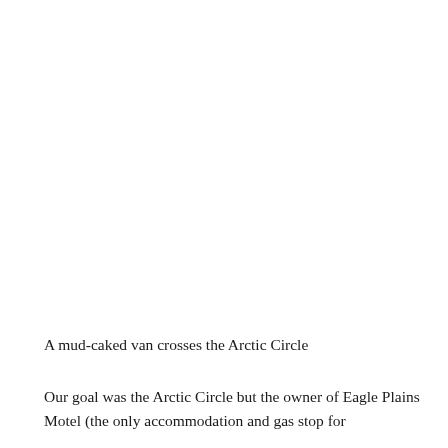A mud-caked van crosses the Arctic Circle
Our goal was the Arctic Circle but the owner of Eagle Plains Motel (the only accommodation and gas stop for